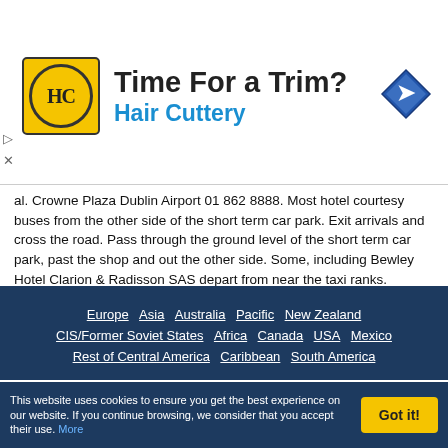[Figure (logo): Hair Cuttery advertisement banner with HC logo in yellow circle, text 'Time For a Trim?' and 'Hair Cuttery' in blue, and a blue diamond navigation icon]
al. Crowne Plaza Dublin Airport 01 862 8888. Most hotel courtesy buses from the other side of the short term car park. Exit arrivals and cross the road. Pass through the ground level of the short term car park, past the shop and out the other side. Some, including Bewley Hotel Clarion & Radisson SAS depart from near the taxi ranks. Steve's Tip: The 747 Bus is very frequent, but the Aircoach is a little more comfortable, but more expensive. Airport Website: www.dublin-airport.net Airport Tel No: +353 1 814 1111. Updated Nov13 ADV. Last Visit Feb10.
Europe  Asia  Australia  Pacific  New Zealand  CIS/Former Soviet States  Africa  Canada  USA  Mexico  Rest of Central America  Caribbean  South America
This website uses cookies to ensure you get the best experience on our website. If you continue browsing, we consider that you accept their use. More